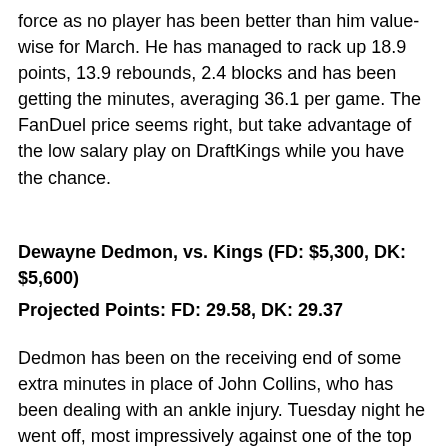force as no player has been better than him value-wise for March. He has managed to rack up 18.9 points, 13.9 rebounds, 2.4 blocks and has been getting the minutes, averaging 36.1 per game. The FanDuel price seems right, but take advantage of the low salary play on DraftKings while you have the chance.
Dewayne Dedmon, vs. Kings (FD: $5,300, DK: $5,600)
Projected Points: FD: 29.58, DK: 29.37
Dedmon has been on the receiving end of some extra minutes in place of John Collins, who has been dealing with an ankle injury. Tuesday night he went off, most impressively against one of the top defenses in the league, managing to hit 15 points, 15 rebounds, two steals, four assists and a block in 29 minutes of action